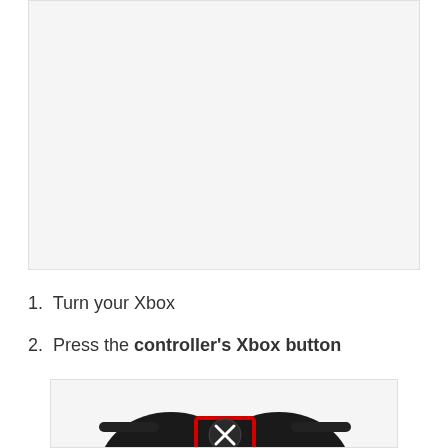[Figure (photo): Large image placeholder area (content cropped/above page view) showing a gray background region]
1.  Turn your Xbox
2.  Press the controller's Xbox button
[Figure (photo): Photo of an Xbox controller viewed from above, with the Xbox button highlighted in red, showing the center portion of the controller in black]